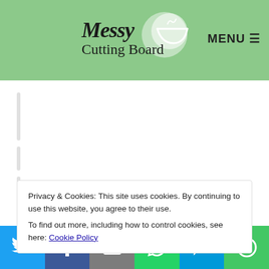Messy Cutting Board — MENU
Privacy & Cookies: This site uses cookies. By continuing to use this website, you agree to their use.
To find out more, including how to control cookies, see here: Cookie Policy